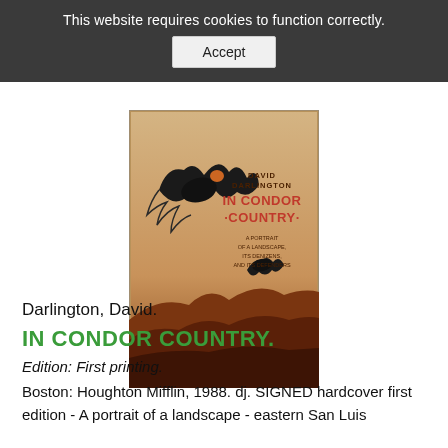This website requires cookies to function correctly.
[Figure (illustration): Book cover of 'In Condor Country' by David Darlington, showing two California condors in flight over a red/orange rocky desert landscape. The cover text reads: DAVID DARLINGTON / IN CONDOR COUNTRY / A PORTRAIT OF A LANDSCAPE, ITS DENIZENS, AND ITS DEFENDERS]
Darlington, David.
IN CONDOR COUNTRY.
Edition: First printing.
Boston: Houghton Mifflin, 1988. dj. SIGNED hardcover first edition - A portrait of a landscape - eastern San Luis